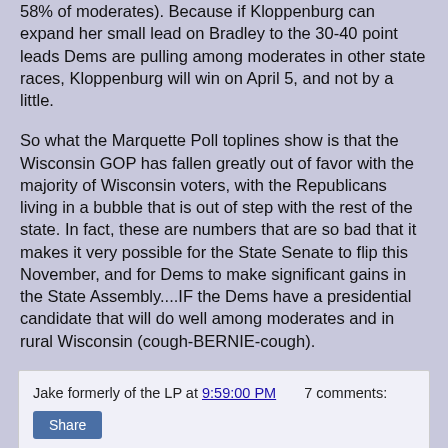58% of moderates). Because if Kloppenburg can expand her small lead on Bradley to the 30-40 point leads Dems are pulling among moderates in other state races, Kloppenburg will win on April 5, and not by a little.
So what the Marquette Poll toplines show is that the Wisconsin GOP has fallen greatly out of favor with the majority of Wisconsin voters, with the Republicans living in a bubble that is out of step with the rest of the state. In fact, these are numbers that are so bad that it makes it very possible for the State Senate to flip this November, and for Dems to make significant gains in the State Assembly....IF the Dems have a presidential candidate that will do well among moderates and in rural Wisconsin (cough-BERNIE-cough).
Jake formerly of the LP at 9:59:00 PM   7 comments:
What to do about Wisconsin...